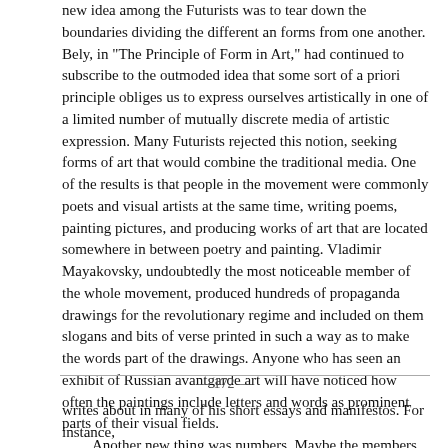new idea among the Futurists was to tear down the boundaries dividing the different an forms from one another. Bely, in "The Principle of Form in Art," had continued to subscribe to the outmoded idea that some sort of a priori principle obliges us to express ourselves artistically in one of a limited number of mutually discrete media of artistic expression. Many Futurists rejected this notion, seeking forms of art that would combine the traditional media. One of the results is that people in the movement were commonly poets and visual artists at the same time, writing poems, painting pictures, and producing works of art that are located somewhere in between poetry and painting. Vladimir Mayakovsky, undoubtedly the most noticeable member of the whole movement, produced hundreds of propaganda drawings for the revolutionary regime and included on them slogans and bits of verse printed in such a way as to make the words part of the drawings. Anyone who has seen an exhibit of Russian avantgarde art will have noticed how often the paintings include letters and words as prominent parts of their visual fields.
Another new thing was numbers. Maybe the members of the Russian avant-garde considered numbers to be part of a modern trend toward abstraction; or maybe after 1917 they saw them as symbols of the technological and industrial revolution that was to fortify and carry on their recent political revolution. In either case, numbers in this era became the object of a special cult, which expressed itself in some rather peculiar ways. Velimir Khlebnikov, one of the pioneering members of this movement, had studied mathematics at the university and had then developed his fascination for numbers into his own mystical system, which he
— 172 —
writes about in many of his short essays and manifestos. For instance,